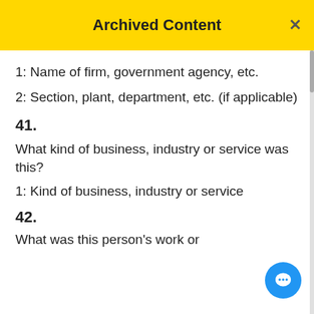Archived Content
1: Name of firm, government agency, etc.
2: Section, plant, department, etc. (if applicable)
41.
What kind of business, industry or service was this?
1: Kind of business, industry or service
42.
What was this person's work or